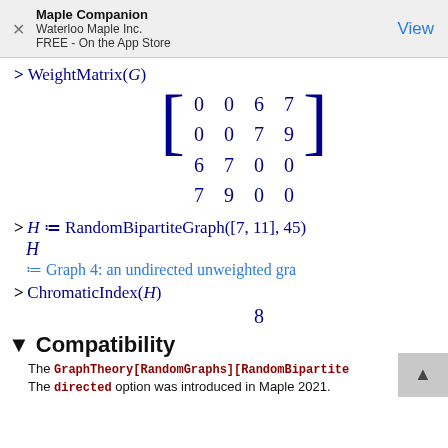Maple Companion
Waterloo Maple Inc.
FREE - On the App Store
▼ Compatibility
The GraphTheory[RandomGraphs][RandomBipartiteGraph] ...
The directed option was introduced in Maple 2021.